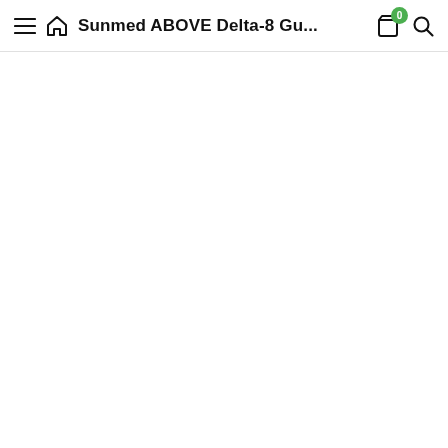≡ 🏠 Sunmed ABOVE Delta-8 Gu… 🛍 0 🔍